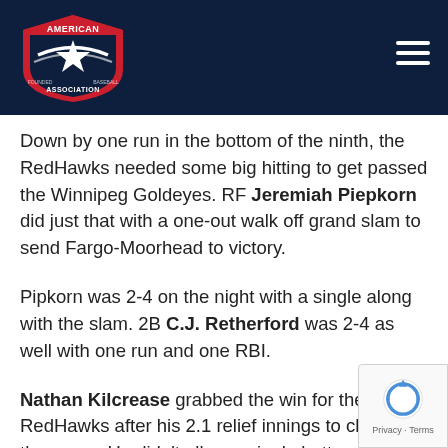[Figure (logo): American Association baseball league logo — red shield with white star on dark navy background, with hamburger menu icon on the right]
Down by one run in the bottom of the ninth, the RedHawks needed some big hitting to get passed the Winnipeg Goldeyes. RF Jeremiah Piepkorn did just that with a one-out walk off grand slam to send Fargo-Moorhead to victory.
Pipkorn was 2-4 on the night with a single along with the slam. 2B C.J. Retherford was 2-4 as well with one run and one RBI.
Nathan Kilcrease grabbed the win for the RedHawks after his 2.1 relief innings to close out the game. He didn't allow a single batter